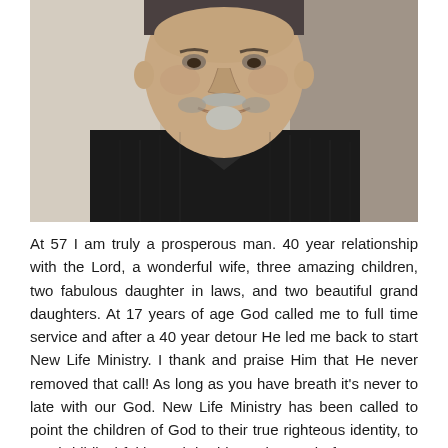[Figure (photo): A middle-aged man with a grey goatee, smiling, wearing a black pinstripe shirt. Photo is cropped at chest/shoulder level showing face and upper body.]
At 57 I am truly a prosperous man. 40 year relationship with the Lord, a wonderful wife, three amazing children, two fabulous daughter in laws, and two beautiful grand daughters. At 17 years of age God called me to full time service and after a 40 year detour He led me back to start New Life Ministry. I thank and praise Him that He never removed that call! As long as you have breath it's never to late with our God. New Life Ministry has been called to point the children of God to their true righteous identity, to teach biblical faith, and the blessed gospel of grace. New Life Ministry is "First Aid For The Heart," teaching the body of Christ that right believing will produce